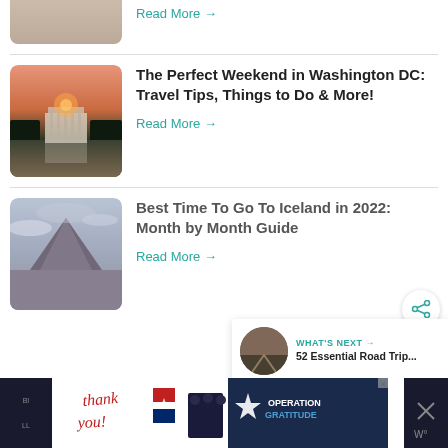[Figure (photo): Partial image at top, cropped]
Read More →
[Figure (photo): Lincoln Memorial at sunset reflected in water, Washington DC]
The Perfect Weekend in Washington DC: Travel Tips, Things to Do & More!
Read More →
[Figure (photo): Mountain landscape in Iceland with clouds]
Best Time To Go To Iceland in 2022: Month by Month Guide
Read More →
WHAT'S NEXT → 52 Essential Road Trip...
[Figure (photo): Advertisement banner - Operation Gratitude thank you campaign]